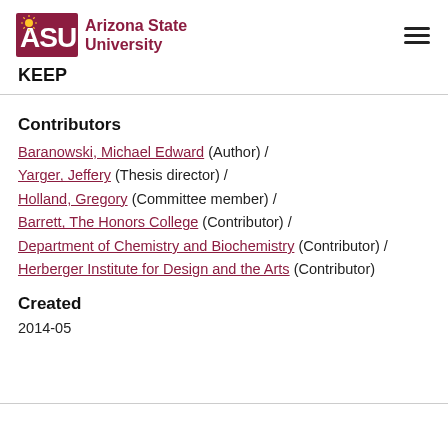[Figure (logo): Arizona State University logo with ASU letters and sunburst icon, followed by text 'Arizona State University']
KEEP
Contributors
Baranowski, Michael Edward (Author) / Yarger, Jeffery (Thesis director) / Holland, Gregory (Committee member) / Barrett, The Honors College (Contributor) / Department of Chemistry and Biochemistry (Contributor) / Herberger Institute for Design and the Arts (Contributor)
Created
2014-05